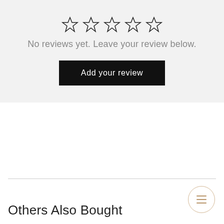[Figure (other): Five empty star rating icons arranged horizontally]
No reviews yet. Leave your review below.
Add your review
Others Also Bought